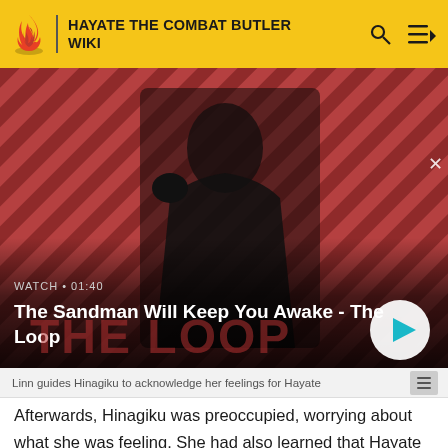HAYATE THE COMBAT BUTLER WIKI
[Figure (screenshot): Video thumbnail showing a dark-clothed man with a raven on his shoulder against a red and dark striped diagonal background. Overlay text reads 'WATCH • 01:40' and title 'The Sandman Will Keep You Awake - The Loop'. A circular play button is visible at bottom right.]
Linn guides Hinagiku to acknowledge her feelings for Hayate
Afterwards, Hinagiku was preoccupied, worrying about what she was feeling. She had also learned that Hayate was potentially at risk of failing, preventing him from